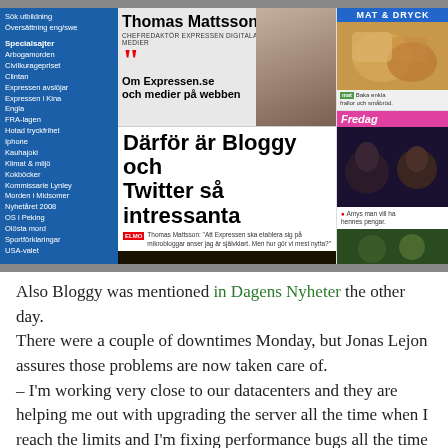[Figure (screenshot): Screenshot of Expressen.se newspaper website showing Thomas Mattsson banner, 'Därför är Bloggy och Twitter så intressanta' headline, left navigation sidebar with Swedish links, right sidebar with Mat & Dryck and Fredag sections, and a nighttime police photo.]
Also Bloggy was mentioned in Dagens Nyheter the other day.
There were a couple of downtimes Monday, but Jonas Lejon assures those problems are now taken care of.
– I'm working very close to our datacenters and they are helping me out with upgrading the server all the time when I reach the limits and I'm fixing performance bugs all the time and now it seems that all problems are gone.